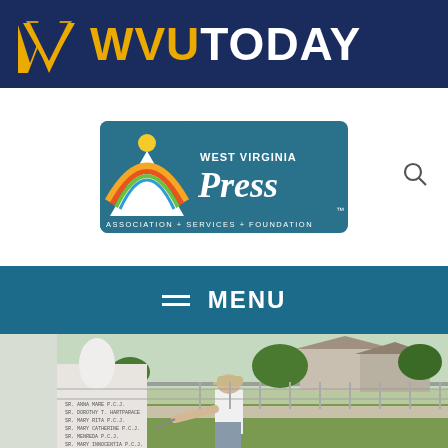[Figure (logo): WVU Today logo on dark blue banner with gold WV flying WV logo]
[Figure (logo): West Virginia Press Association + Services + Foundation logo on white background with search icon]
[Figure (other): Navigation menu bar with hamburger icon and MENU text on teal background]
[Figure (photo): Man in white shirt and cap examining a monument with names engraved, outdoor setting with fence and houses in background]